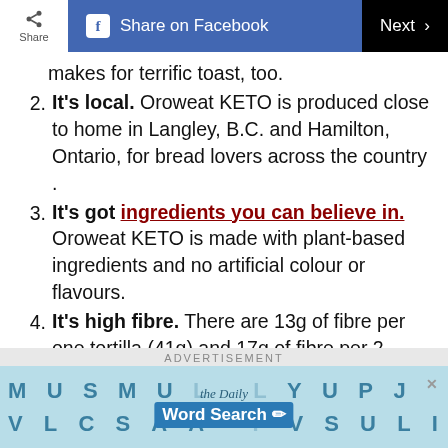Share | Share on Facebook | Next >
makes for terrific toast, too.
2. It's local. Oroweat KETO is produced close to home in Langley, B.C. and Hamilton, Ontario, for bread lovers across the country .
3. It's got ingredients you can believe in. Oroweat KETO is made with plant-based ingredients and no artificial colour or flavours.
4. It's high fibre. There are 13g of fibre per one tortilla (41g) and 17g of fibre per 2 slices of bread (57g) with net
ADVERTISEMENT
[Figure (screenshot): Advertisement banner for The Daily Word Search game showing letter grid with M U S M U L L Y U P J and V L C S A A P V S U L I with the Daily Word Search logo in center]